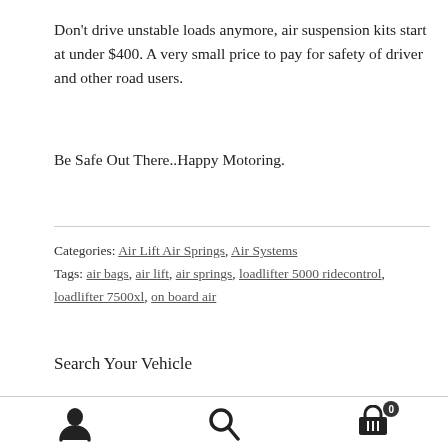Don't drive unstable loads anymore, air suspension kits start at under $400. A very small price to pay for safety of driver and other road users.
Be Safe Out There..Happy Motoring.
Categories: Air Lift Air Springs, Air Systems
Tags: air bags, air lift, air springs, loadlifter 5000 ridecontrol, loadlifter 7500xl, on board air
Search Your Vehicle